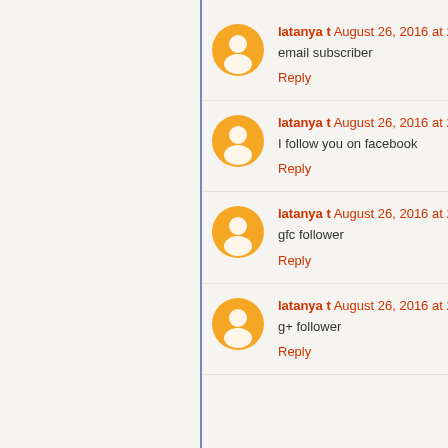latanya t August 26, 2016 at 2:2 email subscriber Reply
latanya t August 26, 2016 at 2:2 I follow you on facebook Reply
latanya t August 26, 2016 at 2:2 gfc follower Reply
latanya t August 26, 2016 at 2:2 g+ follower Reply